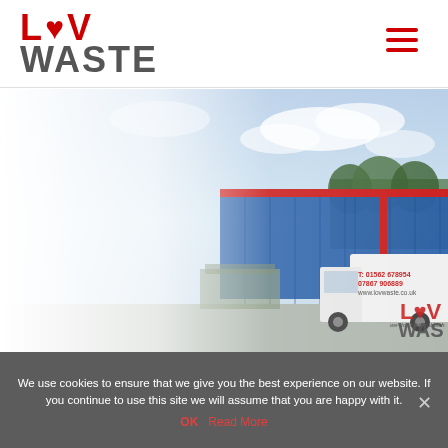[Figure (logo): Lov Waste company logo with red L, heart, V and grey WASTE text]
[Figure (photo): Hero image of a blue and red industrial warehouse building with a white Lov Waste branded van parked in front, partially faded on the left side]
We use cookies to ensure that we give you the best experience on our website. If you continue to use this site we will assume that you are happy with it.
OK  Read More